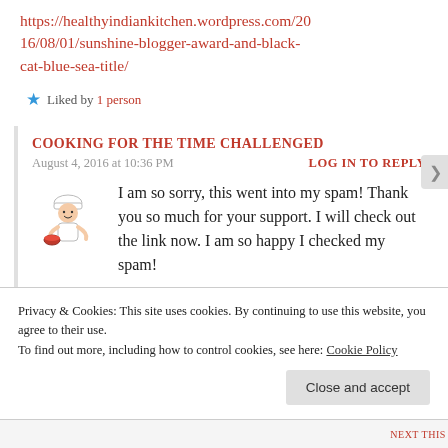https://healthyindiankitchen.wordpress.com/2016/08/01/sunshine-blogger-award-and-black-cat-blue-sea-title/
Liked by 1 person
COOKING FOR THE TIME CHALLENGED
August 4, 2016 at 10:36 PM
LOG IN TO REPLY
I am so sorry, this went into my spam! Thank you so much for your support. I will check out the link now. I am so happy I checked my spam!
Privacy & Cookies: This site uses cookies. By continuing to use this website, you agree to their use.
To find out more, including how to control cookies, see here: Cookie Policy
Close and accept